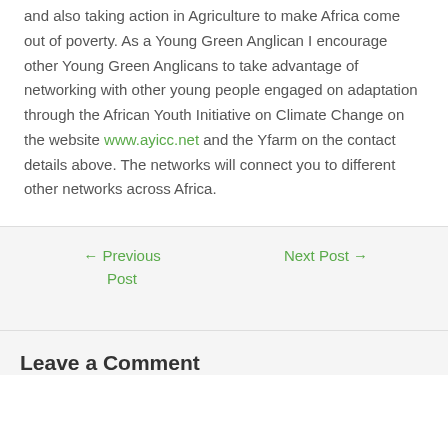and also taking action in Agriculture to make Africa come out of poverty. As a Young Green Anglican I encourage other Young Green Anglicans to take advantage of networking with other young people engaged on adaptation through the African Youth Initiative on Climate Change on the website www.ayicc.net and the Yfarm on the contact details above. The networks will connect you to different other networks across Africa.
← Previous Post | Next Post →
Leave a Comment